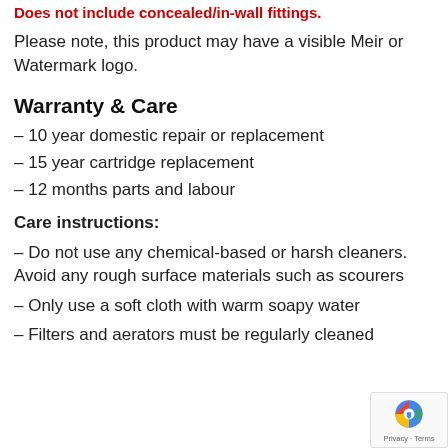Does not include concealed/in-wall fittings.
Please note, this product may have a visible Meir or Watermark logo.
Warranty & Care
– 10 year domestic repair or replacement
– 15 year cartridge replacement
– 12 months parts and labour
Care instructions:
– Do not use any chemical-based or harsh cleaners. Avoid any rough surface materials such as scourers
– Only use a soft cloth with warm soapy water
– Filters and aerators must be regularly cleaned